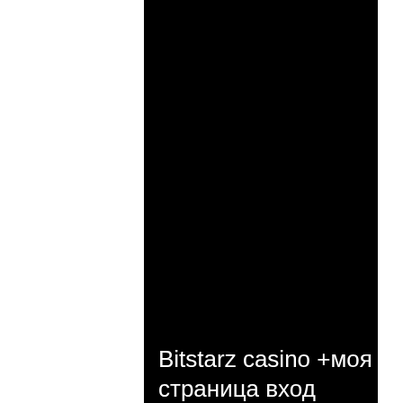[Figure (screenshot): Dark/black background image taking up the central and right portion of the page, with white text at the bottom reading 'Bitstarz casino +моя страница вход']
Bitstarz casino +моя страница вход